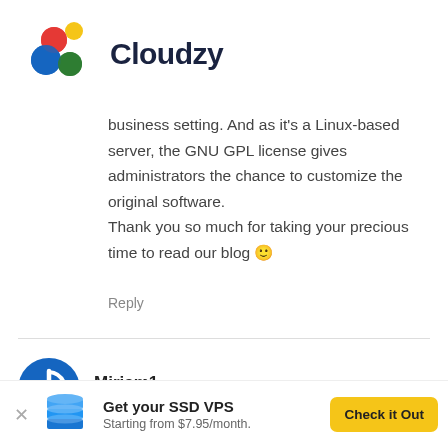[Figure (logo): Cloudzy logo with colorful interlocking circles (red, blue, green, yellow) and the text 'Cloudzy' in dark navy bold font]
business setting. And as it's a Linux-based server, the GNU GPL license gives administrators the chance to customize the original software.
Thank you so much for taking your precious time to read our blog 🙂
Reply
[Figure (illustration): User avatar for Miriam1 — circular blue power icon badge]
Miriam1
January 10, 2021 at 8:02 am
[Figure (illustration): Ad banner with 3D blue server stack icon, 'Get your SSD VPS' title, 'Starting from $7.95/month.' subtitle, and a yellow 'Check it Out' button]